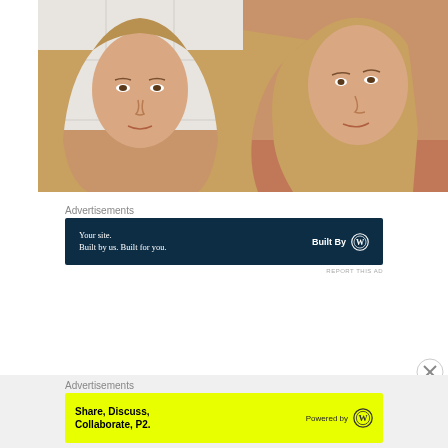[Figure (photo): Two side-by-side photos of a young woman with long blonde hair. Left photo is a front-facing selfie against white tiles. Right photo is a three-quarter view selfie, slightly angled.]
Advertisements
[Figure (screenshot): Dark navy blue advertisement banner reading 'Your site. Built by us. Built for you.' with WordPress 'Built By' logo on the right.]
REPORT THIS AD
[Figure (screenshot): Close button (circled X)]
Advertisements
[Figure (screenshot): Yellow advertisement banner reading 'Share, Discuss, Collaborate, P2.' with WordPress 'Powered by' logo on the right.]
REPORT THIS AD